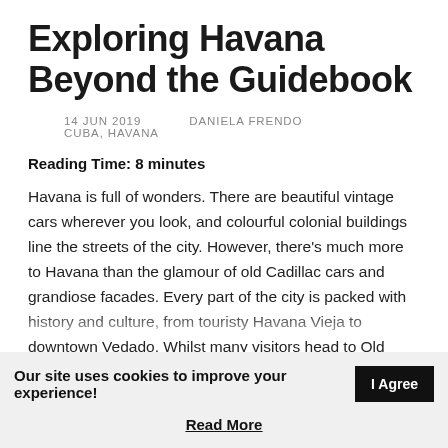Exploring Havana Beyond the Guidebook
14 JUN 2019   DANIELA FRENDO
CUBA, HAVANA
Reading Time: 8 minutes
Havana is full of wonders. There are beautiful vintage cars wherever you look, and colourful colonial buildings line the streets of the city. However, there's much more to Havana than the glamour of old Cadillac cars and grandiose facades. Every part of the city is packed with history and culture, from touristy Havana Vieja to downtown Vedado. Whilst many visitors head to Old Havana for the city's popular must-see sites, there are plenty of ways to get off the beaten path in Havana and see a different side to the Cuban capital
Our site uses cookies to improve your experience!   I Agree
Read More